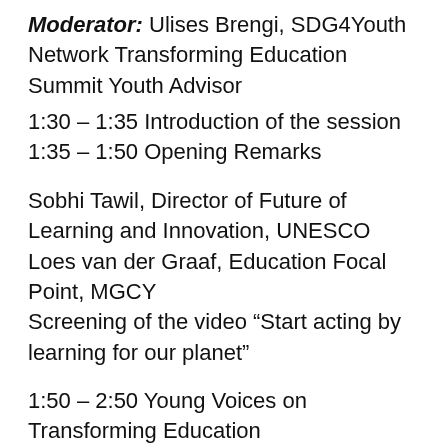Moderator: Ulises Brengi, SDG4Youth Network Transforming Education Summit Youth Advisor
1:30 – 1:35 Introduction of the session
1:35 – 1:50 Opening Remarks
Sobhi Tawil, Director of Future of Learning and Innovation, UNESCO
Loes van der Graaf, Education Focal Point, MGCY
Screening of the video “Start acting by learning for our planet”
1:50 – 2:50 Young Voices on Transforming Education
Panelists